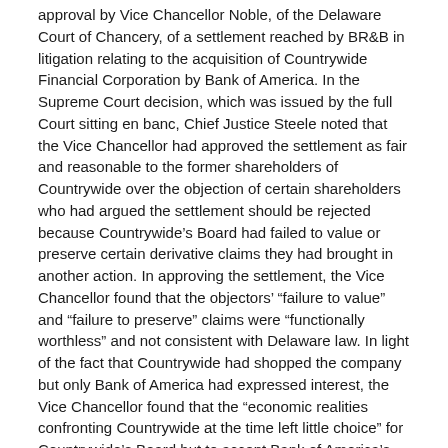approval by Vice Chancellor Noble, of the Delaware Court of Chancery, of a settlement reached by BR&B in litigation relating to the acquisition of Countrywide Financial Corporation by Bank of America. In the Supreme Court decision, which was issued by the full Court sitting en banc, Chief Justice Steele noted that the Vice Chancellor had approved the settlement as fair and reasonable to the former shareholders of Countrywide over the objection of certain shareholders who had argued the settlement should be rejected because Countrywide's Board had failed to value or preserve certain derivative claims they had brought in another action. In approving the settlement, the Vice Chancellor found that the objectors' “failure to value” and “failure to preserve” claims were “functionally worthless” and not consistent with Delaware law. In light of the fact that Countrywide had shopped the company but only Bank of America had expressed interest, the Vice Chancellor found that the “economic realities confronting Countrywide at the time left little choice” for Countrywide’s Board but to accept Bank of America’s offer, and that the record demonstrated that “facing increasing pressure, the Countrywide board determined that some arrangement providing stability was necessary.” The Vice Chancellor further found that any significant recovery on the objectors’ theories was “unlikely” and the Board’s failure to value the derivative claims “did not likely harm Countrywide shareholders.”
The decision called for the court to balance several competing...